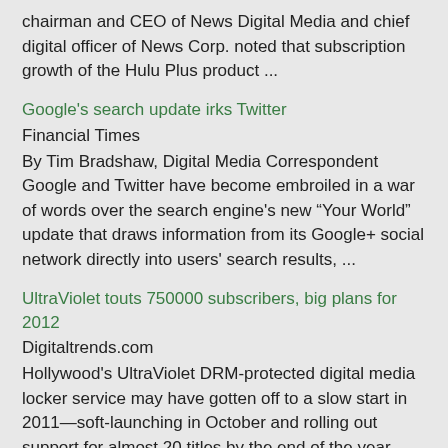chairman and CEO of News Digital Media and chief digital officer of News Corp. noted that subscription growth of the Hulu Plus product ...
Google's search update irks Twitter
Financial Times
By Tim Bradshaw, Digital Media Correspondent Google and Twitter have become embroiled in a war of words over the search engine's new “Your World” update that draws information from its Google+ social network directly into users' search results, ...
UltraViolet touts 750000 subscribers, big plans for 2012
Digitaltrends.com
Hollywood's UltraViolet DRM-protected digital media locker service may have gotten off to a slow start in 2011—soft-launching in October and rolling out support for almost 20 titles by the end of the year—but the Digital Entertainment Content ...
Cox Digital Solutions Partners With Yahoo! to Provide Political Advertising